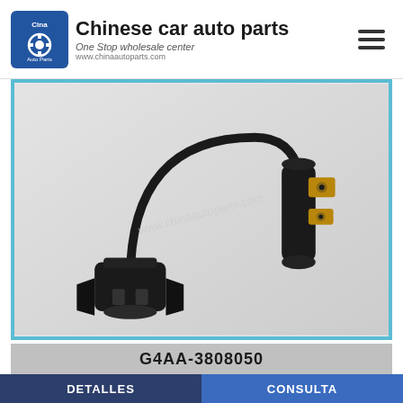Chinese car auto parts – One Stop wholesale center – www.chinaautoparts.com
[Figure (photo): Crankshaft position sensor (part number G4AA-3808050) with black plastic connector and wiring, shown on white background. Watermark: www.chinaautoparts.com]
G4AA-3808050
DETALLES
CONSULTA